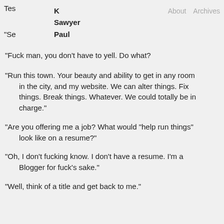Tes
K
Sawyer
Paul
"Se
About  Archives
“Fuck man, you don’t have to yell. Do what?
“Run this town. Your beauty and ability to get in any room in the city, and my website. We can alter things. Fix things. Break things. Whatever. We could totally be in charge.”
“Are you offering me a job? What would “help run things” look like on a resume?”
“Oh, I don’t fucking know. I don’t have a resume. I’m a Blogger for fuck’s sake.”
“Well, think of a title and get back to me.”